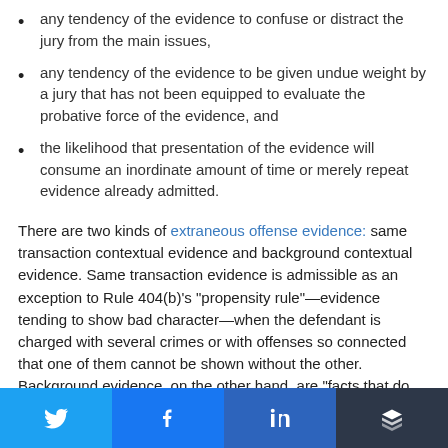any tendency of the evidence to confuse or distract the jury from the main issues,
any tendency of the evidence to be given undue weight by a jury that has not been equipped to evaluate the probative force of the evidence, and
the likelihood that presentation of the evidence will consume an inordinate amount of time or merely repeat evidence already admitted.
There are two kinds of extraneous offense evidence: same transaction contextual evidence and background contextual evidence. Same transaction evidence is admissible as an exception to Rule 404(b)’s “propensity rule”—evidence tending to show bad character—when the defendant is charged with several crimes or with offenses so connected that one of them cannot be shown without the other. Background evidence, on the other hand, are “facts that do not bear directly on the purely legal issues, but merely fill in
[Figure (infographic): Social sharing buttons bar: Twitter (blue), Facebook (blue), LinkedIn (dark blue), Buffer (dark grey)]